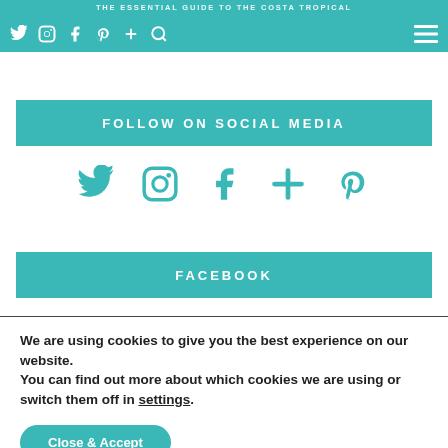THE ESSENTIAL GUIDE TO THE COSTA TROPICAL
[Figure (screenshot): Navigation bar with social media icons: Twitter, Instagram, Facebook, Pinterest, plus/add, search, and hamburger menu on teal background]
FOLLOW ON SOCIAL MEDIA
[Figure (infographic): Row of teal social media icons: Twitter, Instagram, Facebook, plus/add, Pinterest]
FACEBOOK
We are using cookies to give you the best experience on our website.
You can find out more about which cookies we are using or switch them off in settings.
Close & Accept